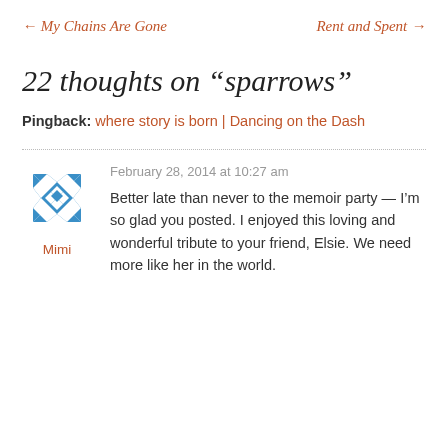← My Chains Are Gone    Rent and Spent →
22 thoughts on “sparrows”
Pingback: where story is born | Dancing on the Dash
[Figure (illustration): Blue geometric quilt-pattern avatar icon]
Mimi
February 28, 2014 at 10:27 am
Better late than never to the memoir party — I’m so glad you posted. I enjoyed this loving and wonderful tribute to your friend, Elsie. We need more like her in the world.